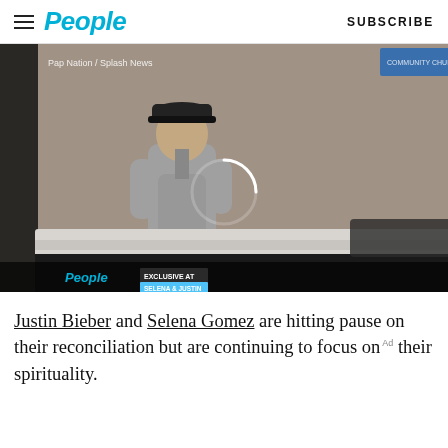People | SUBSCRIBE
[Figure (photo): Paparazzi video still showing two people standing beside a dark vehicle outside a building at night. Watermark reads 'Pap Nation / Splash News'. A loading spinner circle is visible in the center. Bottom bar shows People logo and lower-thirds text.]
Justin Bieber and Selena Gomez are hitting pause on their reconciliation but are continuing to focus on their spirituality.